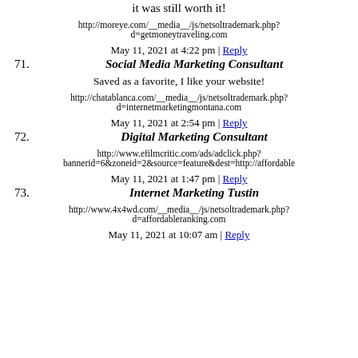it was still worth it!
http://moreye.com/__media__/js/netsoltrademark.php?d=getmoneytraveling.com
May 11, 2021 at 4:22 pm | Reply
71. Social Media Marketing Consultant
Saved as a favorite, I like your website!
http://chatablanca.com/__media__/js/netsoltrademark.php?d=internetmarketingmontana.com
May 11, 2021 at 2:54 pm | Reply
72. Digital Marketing Consultant
http://www.efilmcritic.com/ads/adclick.php?bannerid=6&zoneid=2&source=feature&dest=http://affordable
May 11, 2021 at 1:47 pm | Reply
73. Internet Marketing Tustin
http://www.4x4wd.com/__media__/js/netsoltrademark.php?d=affordableranking.com
May 11, 2021 at 10:07 am | Reply